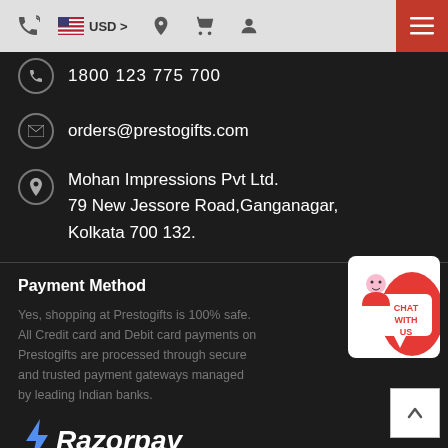USD > [navigation bar with phone, currency, location, cart, account, menu icons]
1800 123 775 700
orders@prestogifts.com
Mohan Impressions Pvt Ltd.
79 New Jessore Road,Ganganagar,
Kolkata 700 132.
Payment Method
Yes, shopping at Prestogifts is 100% safe. All Credit card and Debit card payments on Prestogifts are processed through secure and trusted payment gateways managed by leading Indian banks.
[Figure (logo): Razorpay logo in white/blue italic font with lightning bolt symbol]
[Figure (logo): Google Pay logo and UPI logo side by side]